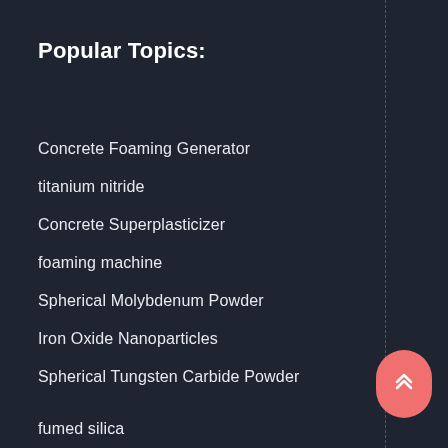Popular Topics:
Concrete Foaming Generator
titanium nitride
Concrete Superplasticizer
foaming machine
Spherical Molybdenum Powder
Iron Oxide Nanoparticles
Spherical Tungsten Carbide Powder
fumed silica
graphene
TiO...